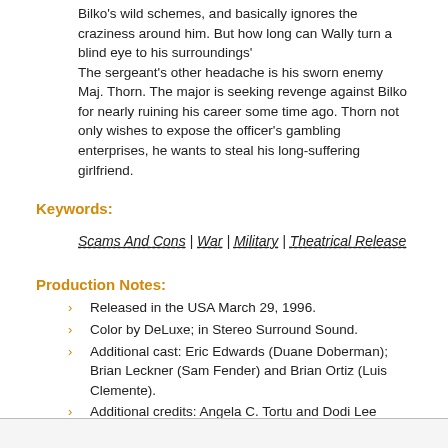Bilko's wild schemes, and basically ignores the craziness around him. But how long can Wally turn a blind eye to his surroundings'
The sergeant's other headache is his sworn enemy Maj. Thorn. The major is seeking revenge against Bilko for nearly ruining his career some time ago. Thorn not only wishes to expose the officer's gambling enterprises, he wants to steal his long-suffering girlfriend.
Keywords:
Scams And Cons | War | Military | Theatrical Release
Production Notes:
Released in the USA March 29, 1996.
Color by DeLuxe; in Stereo Surround Sound.
Additional cast: Eric Edwards (Duane Doberman); Brian Leckner (Sam Fender) and Brian Ortiz (Luis Clemente).
Additional credits: Angela C. Tortu and Dodi Lee Rubinstein (assistant directors) and Yvonne Garnier-Hackl (set design).
Rated BBFC PG by the British Board of Film Classification.
Copyright 1996 Universal City Studios, Inc.